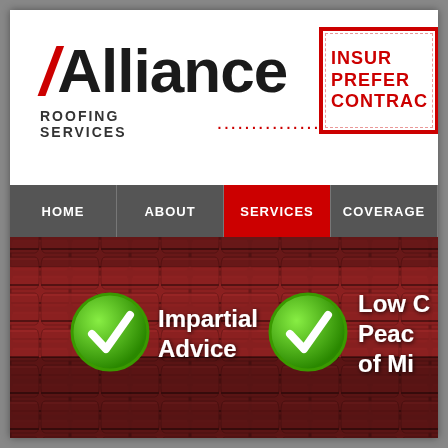[Figure (logo): Alliance Roofing Services logo with red slash before 'A' and red dots after 'ROOFING SERVICES']
[Figure (other): Insurance Preferred Contractor stamp badge in red border]
HOME
ABOUT
SERVICES
COVERAGE
[Figure (photo): Photo of red roof tiles with two green checkmark circles and overlay text: 'Impartial Advice' and 'Low Cost Peace of Mind']